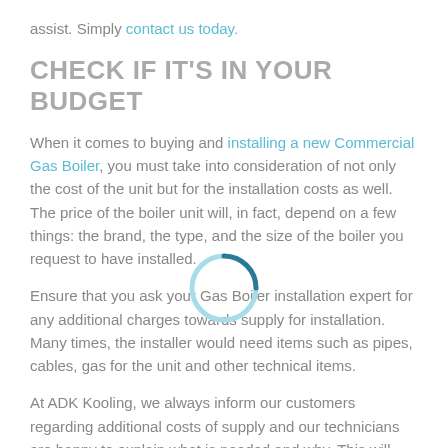assist. Simply contact us today.
CHECK IF IT'S IN YOUR BUDGET
When it comes to buying and installing a new Commercial Gas Boiler, you must take into consideration of not only the cost of the unit but for the installation costs as well. The price of the boiler unit will, in fact, depend on a few things: the brand, the type, and the size of the boiler you request to have installed.
[Figure (other): A circular loading spinner graphic, arc in dark teal on top-right and light blue on bottom-left]
Ensure that you ask your Gas Boiler installation expert for any additional charges towards supply for installation. Many times, the installer would need items such as pipes, cables, gas for the unit and other technical items.
At ADK Kooling, we always inform our customers regarding additional costs of supply and our technicians are happy to explain what is needed and why. This will help you plan better towards the installation and avoid any last-minute